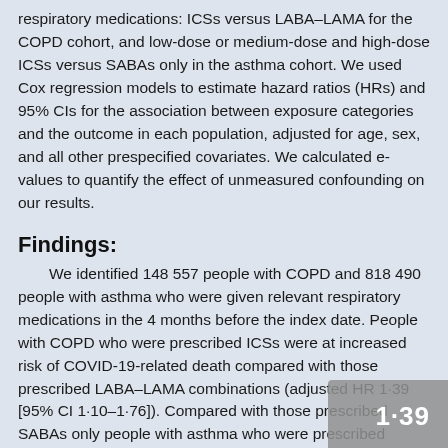respiratory medications: ICSs versus LABA–LAMA for the COPD cohort, and low-dose or medium-dose and high-dose ICSs versus SABAs only in the asthma cohort. We used Cox regression models to estimate hazard ratios (HRs) and 95% CIs for the association between exposure categories and the outcome in each population, adjusted for age, sex, and all other prespecified covariates. We calculated e-values to quantify the effect of unmeasured confounding on our results.
Findings:
We identified 148 557 people with COPD and 818 490 people with asthma who were given relevant respiratory medications in the 4 months before the index date. People with COPD who were prescribed ICSs were at increased risk of COVID-19-related death compared with those prescribed LABA–LAMA combinations (adjusted HR 1·39 [95% CI 1·10–1·76]). Compared with those prescribed SABAs only people with asthma who were prescribed